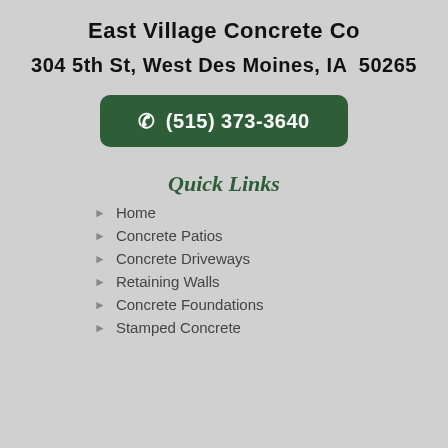East Village Concrete Co
304 5th St, West Des Moines, IA  50265
(515) 373-3640
Quick Links
Home
Concrete Patios
Concrete Driveways
Retaining Walls
Concrete Foundations
Stamped Concrete